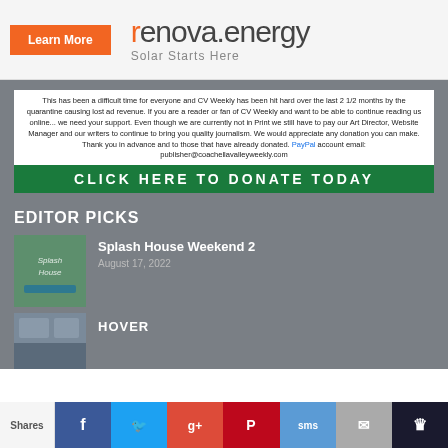[Figure (other): Renova Energy advertisement banner with orange Learn More button and renova.energy logo with tagline Solar Starts Here]
This has been a difficult time for everyone and CV Weekly has been hit hard over the last 2 1/2 months by the quarantine causing lost ad revenue. If you are a reader or fan of CV Weekly and want to be able to continue reading us online... we need your support. Even though we are currently not in Print we still have to pay our Art Director, Website Manager and our writers to continue to bring you quality journalism. We would appreciate any donation you can make. Thank you in advance and to those that have already donated. PayPal account email: publisher@coachellavalleyweekly.com
[Figure (other): Green banner button reading CLICK HERE TO DONATE TODAY]
EDITOR PICKS
[Figure (photo): Splash House event thumbnail image]
Splash House Weekend 2
August 17, 2022
[Figure (photo): Second article thumbnail image]
HOVER
[Figure (other): Social sharing bar with Shares label, Facebook, Twitter, Google+, Pinterest, SMS, Email, and more buttons]